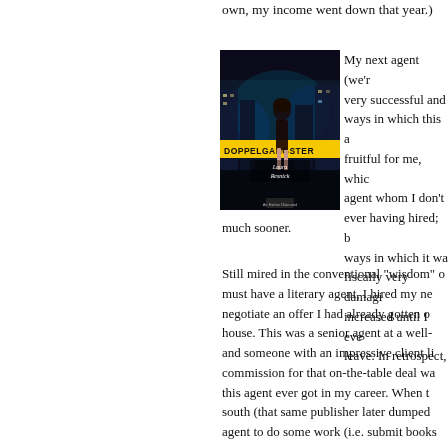own, my income went down that year.)
[Figure (illustration): Book cover of 'Doppelgangster' by Laura Resnick — a woman in a black dress standing in a dark city street scene with yellow crime scene tape reading 'DOPPELGANGSTER']
My next agent (we're very successful and ways in which this a fruitful for me, which agent whom I don't ever having hired; b ways in which it was fiscally very damagi increased until I eve leave. In retrospect, much sooner.
Still mired in the conventional "wisdom" o must have a literary agent, I hired my ne negotiate an offer I had already gotten o house. This was a senior agent at a well- and someone with an impressive client li commission for that on-the-table deal wa this agent ever got in my career. When t south (that same publisher later dumped agent to do some work (i.e. submit books